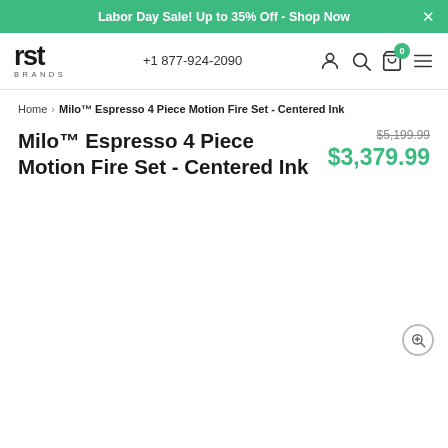Labor Day Sale! Up to 35% Off - Shop Now
[Figure (logo): RST Brands logo - 'rst' in large bold letters with 'BRANDS' in small caps below]
+1 877-924-2090
Home > Milo™ Espresso 4 Piece Motion Fire Set - Centered Ink
Milo™ Espresso 4 Piece Motion Fire Set - Centered Ink
$5,199.99 $3,379.99